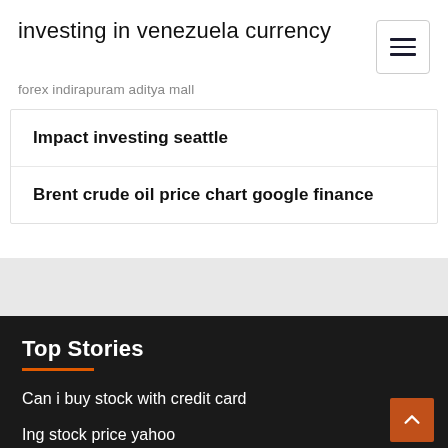investing in venezuela currency
forex indirapuram aditya mall
Impact investing seattle
Brent crude oil price chart google finance
Top Stories
Can i buy stock with credit card
Ing stock price yahoo